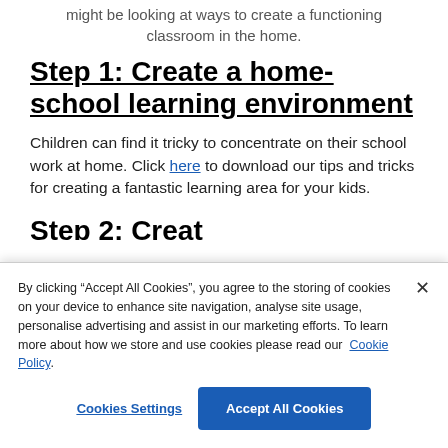might be looking at ways to create a functioning classroom in the home.
Step 1: Create a home-school learning environment
Children can find it tricky to concentrate on their school work at home. Click here to download our tips and tricks for creating a fantastic learning area for your kids.
Step 2: Creat...
By clicking “Accept All Cookies”, you agree to the storing of cookies on your device to enhance site navigation, analyse site usage, personalise advertising and assist in our marketing efforts. To learn more about how we store and use cookies please read our Cookie Policy.